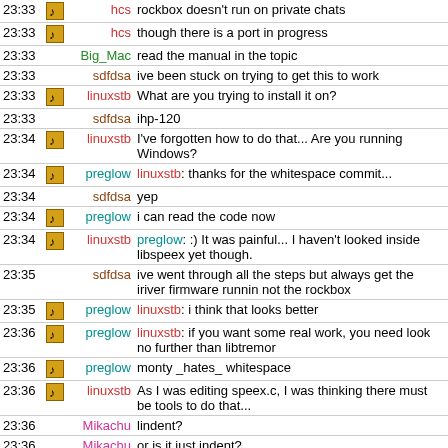| Time | Icon | Nick | Message |
| --- | --- | --- | --- |
| 23:33 | icon | hcs | rockbox doesn't run on private chats |
| 23:33 | icon | hcs | though there is a port in progress |
| 23:33 |  | Big_Mac | read the manual in the topic |
| 23:33 |  | sdfdsa | ive been stuck on trying to get this to work |
| 23:33 | icon | linuxstb | What are you trying to install it on? |
| 23:33 |  | sdfdsa | ihp-120 |
| 23:34 | icon | linuxstb | I've forgotten how to do that... Are you running Windows? |
| 23:34 | icon | preglow | linuxstb: thanks for the whitespace commit... |
| 23:34 |  | sdfdsa | yep |
| 23:34 | icon | preglow | i can read the code now |
| 23:34 | icon | linuxstb | preglow: :) It was painful... I haven't looked inside libspeex yet though. |
| 23:35 |  | sdfdsa | ive went through all the steps but always get the iriver firmware runnin not the rockbox |
| 23:35 | icon | preglow | linuxstb: i think that looks better |
| 23:36 | icon | preglow | linuxstb: if you want some real work, you need look no further than libtremor |
| 23:36 | icon | preglow | monty _hates_ whitespace |
| 23:36 | icon | linuxstb | As I was editing speex.c, I was thinking there must be tools to do that... |
| 23:36 |  | Mikachu | lindent? |
| 23:36 |  | Mikachu | or is it just indent? |
| 23:36 |  | Mikachu | or something completely different |
| 23:37 | icon | linuxstb | sdfdsa: Do you see the Rockbox bootloader screen before |